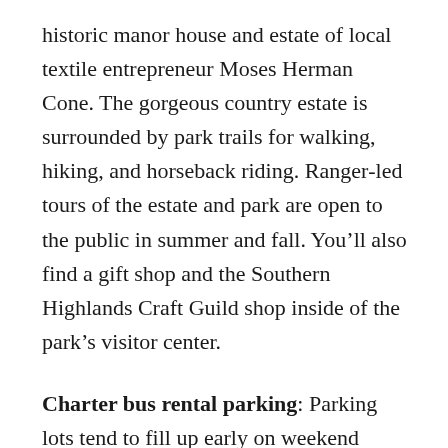historic manor house and estate of local textile entrepreneur Moses Herman Cone. The gorgeous country estate is surrounded by park trails for walking, hiking, and horseback riding. Ranger-led tours of the estate and park are open to the public in summer and fall. You'll also find a gift shop and the Southern Highlands Craft Guild shop inside of the park's visitor center.
Charter bus rental parking: Parking lots tend to fill up early on weekend mornings, and overflow parking isn't readily available. You'll want to